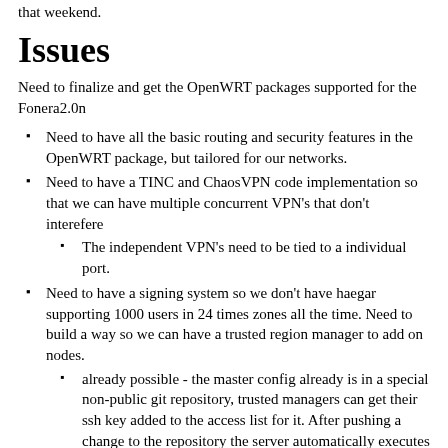that weekend.
Issues
Need to finalize and get the OpenWRT packages supported for the Fonera2.0n
Need to have all the basic routing and security features in the OpenWRT package, but tailored for our networks.
Need to have a TINC and ChaosVPN code implementation so that we can have multiple concurrent VPN's that don't interefere
The independent VPN's need to be tied to a individual port.
Need to have a signing system so we don't have haegar supporting 1000 users in 24 times zones all the time. Need to build a way so we can have a trusted region manager to add on nodes.
already possible - the master config already is in a special non-public git repository, trusted managers can get their ssh key added to the access list for it. After pushing a change to the repository the server automatically executes a post-push-hook and recreates the signed and encrypted datafiles for all the clients (and